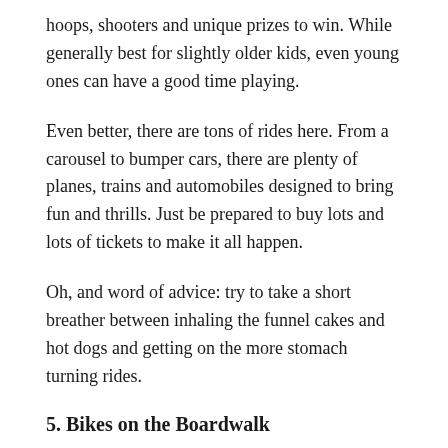hoops, shooters and unique prizes to win. While generally best for slightly older kids, even young ones can have a good time playing.
Even better, there are tons of rides here. From a carousel to bumper cars, there are plenty of planes, trains and automobiles designed to bring fun and thrills. Just be prepared to buy lots and lots of tickets to make it all happen.
Oh, and word of advice: try to take a short breather between inhaling the funnel cakes and hot dogs and getting on the more stomach turning rides.
5. Bikes on the Boardwalk